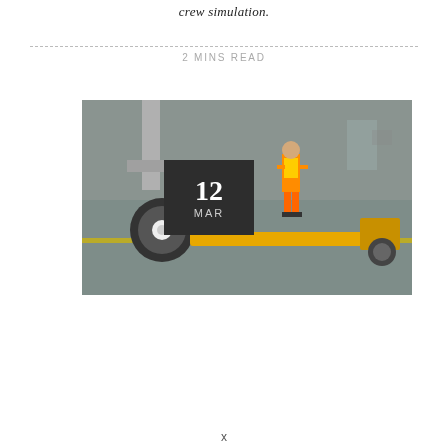crew simulation.
2 MINS READ
[Figure (photo): Airport tarmac scene showing an aircraft nose gear/wheel with a yellow tow bar attached, and a ground crew worker in orange hi-vis vest standing in the background on the apron. Date badge overlay shows '12 MAR' in dark grey box.]
x